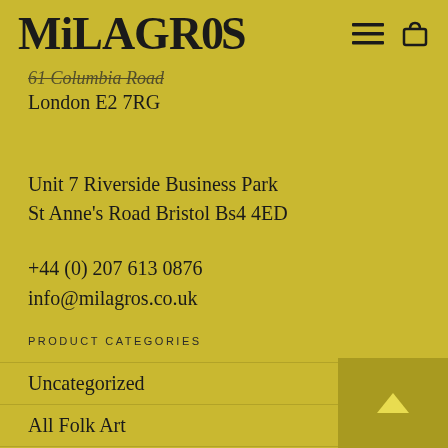MiLAGR0S
61 Columbia Road
London E2 7RG
Unit 7 Riverside Business Park
St Anne's Road Bristol Bs4 4ED
+44 (0) 207 613 0876
info@milagros.co.uk
PRODUCT CATEGORIES
Uncategorized
All Folk Art
Mexican Niches
Chocolate